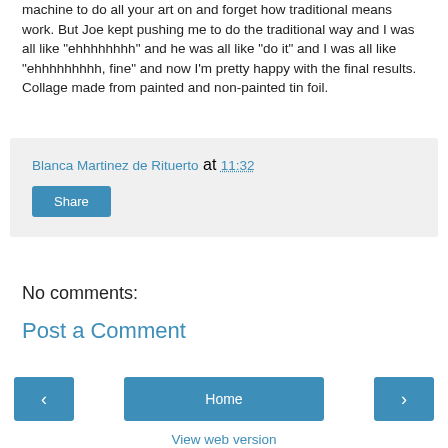machine to do all your art on and forget how traditional means work. But Joe kept pushing me to do the traditional way and I was all like "ehhhhhhhh" and he was all like "do it" and I was all like "ehhhhhhhhh, fine" and now I'm pretty happy with the final results. Collage made from painted and non-painted tin foil.
Blanca Martinez de Rituerto at 11:32
Share
No comments:
Post a Comment
‹
Home
›
View web version
Powered by Blogger.